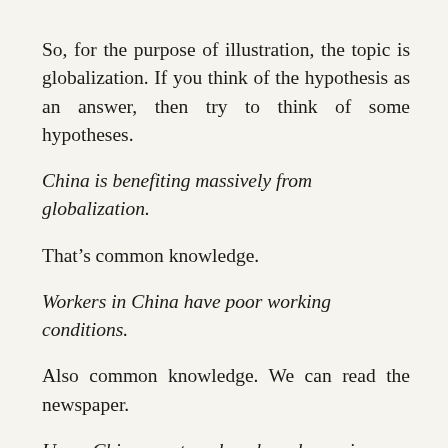So, for the purpose of illustration, the topic is globalization. If you think of the hypothesis as an answer, then try to think of some hypotheses.
China is benefiting massively from globalization.
That’s common knowledge.
Workers in China have poor working conditions.
Also common knowledge. We can read the newspaper.
Um… Chinese automakers have been given a chance to expand?
Yes! A question. Do you start to see? When you think of the hypothesis as an answer, you should